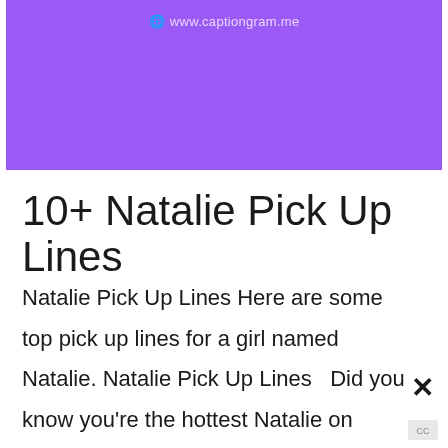www.captiongram.me
10+ Natalie Pick Up Lines
Natalie Pick Up Lines Here are some top pick up lines for a girl named Natalie. Natalie Pick Up Lines   Did you know you're the hottest Natalie on [Tinder, Bumble, Hinge etc.]? How about something about "Captain Nemo" and "Nataly-us"? Hey Nat, did you know you are NATurally beautiful? Hello Natalie, did